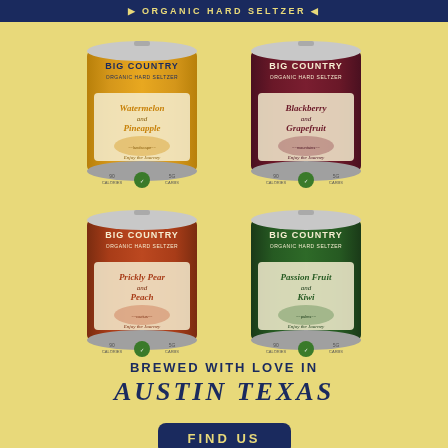ORGANIC HARD SELTZER
[Figure (photo): Four Big Country Organic Hard Seltzer cans arranged in a 2x2 grid. Top-left: golden/yellow can with Watermelon and Pineapple flavor. Top-right: dark maroon/purple can with Blackberry and Grapefruit flavor. Bottom-left: rust/terracotta red can with Prickly Pear and Peach flavor. Bottom-right: dark green can with Passion Fruit and Kiwi flavor. Each can features the Big Country brand name, scenic landscape illustrations, and 'Enjoy the Journey' tagline.]
BREWED WITH LOVE IN
AUSTIN TEXAS
FIND US